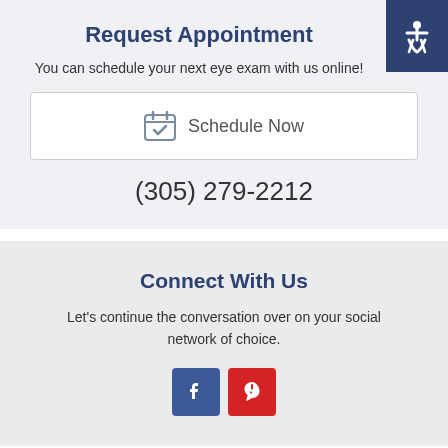Request Appointment
You can schedule your next eye exam with us online!
[Figure (other): Schedule Now button with calendar icon]
(305) 279-2212
Connect With Us
Let's continue the conversation over on your social network of choice.
[Figure (other): Facebook and Yelp social media icons]